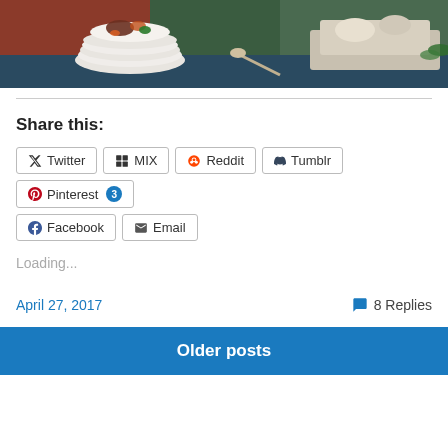[Figure (photo): Food buffet photo showing stacked white plates with meat, vegetables, and garnishes on a table with serving dishes]
Share this:
Twitter | MIX | Reddit | Tumblr | Pinterest 3 | Facebook | Email
Loading...
April 27, 2017   8 Replies
Older posts